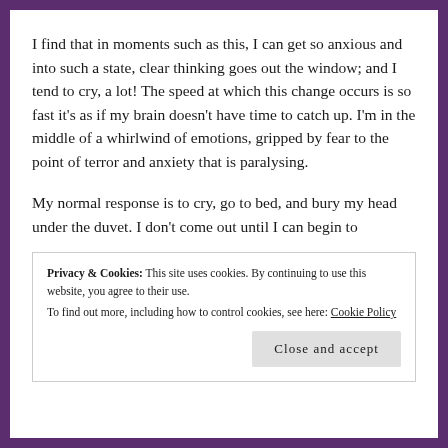I find that in moments such as this, I can get so anxious and into such a state, clear thinking goes out the window; and I tend to cry, a lot! The speed at which this change occurs is so fast it's as if my brain doesn't have time to catch up. I'm in the middle of a whirlwind of emotions, gripped by fear to the point of terror and anxiety that is paralysing.
My normal response is to cry, go to bed, and bury my head under the duvet. I don't come out until I can begin to
Privacy & Cookies: This site uses cookies. By continuing to use this website, you agree to their use.
To find out more, including how to control cookies, see here: Cookie Policy